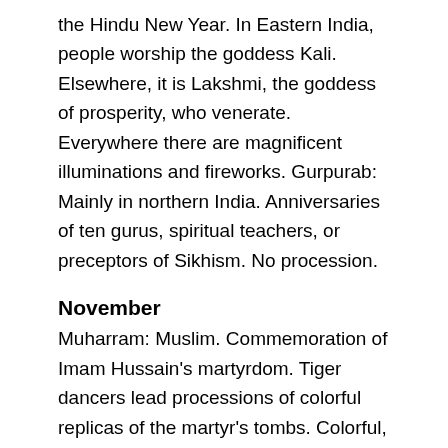the Hindu New Year. In Eastern India, people worship the goddess Kali. Elsewhere, it is Lakshmi, the goddess of prosperity, who venerate. Everywhere there are magnificent illuminations and fireworks. Gurpurab: Mainly in northern India. Anniversaries of ten gurus, spiritual teachers, or preceptors of Sikhism. No procession.
November
Muharram: Muslim. Commemoration of Imam Hussain's martyrdom. Tiger dancers lead processions of colorful replicas of the martyr's tombs. Colorful, particularly at Lucknow.
Bihar: Largest cattle fair in the world; 1-month Sonepur, Patna; on banks of the Ganges.
Pushkar Mela: Pushkar, near Ajmer, Rajasthan.
Important and colorful. Camel and cattle fair attended